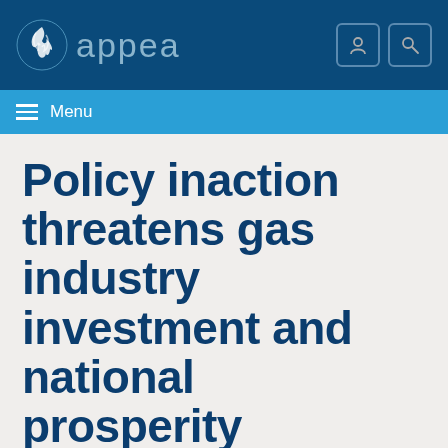appea
Menu
Policy inaction threatens gas industry investment and national prosperity
Home / News / Policy inaction threatens gas industry investment and national prosperity